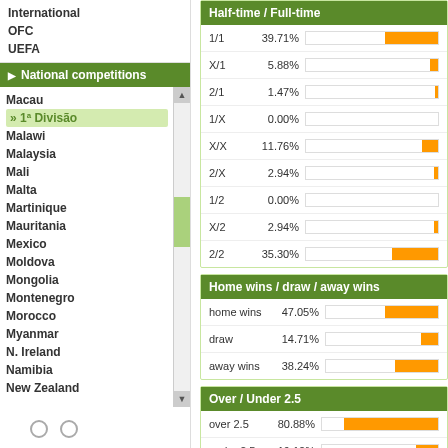International
OFC
UEFA
National competitions
Macau
» 1ª Divisão
Malawi
Malaysia
Mali
Malta
Martinique
Mauritania
Mexico
Moldova
Mongolia
Montenegro
Morocco
Myanmar
N. Ireland
Namibia
New Zealand
Half-time / Full-time
[Figure (bar-chart): Half-time / Full-time]
Home wins / draw / away wins
[Figure (bar-chart): Home wins / draw / away wins]
Over / Under 2.5
[Figure (bar-chart): Over / Under 2.5]